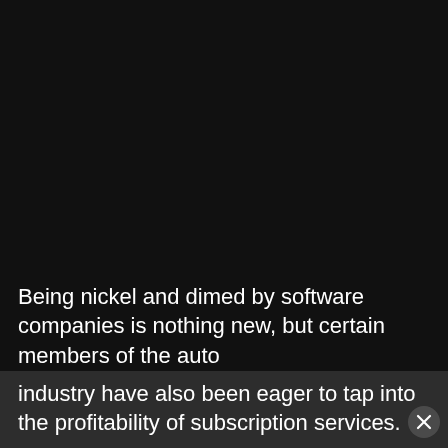[Figure (photo): Nearly entirely black/dark image, possibly a video still or night scene, with a single faint white dot near the center.]
Being nickel and dimed by software companies is nothing new, but certain members of the auto industry have also been eager to tap into the profitability of subscription services.